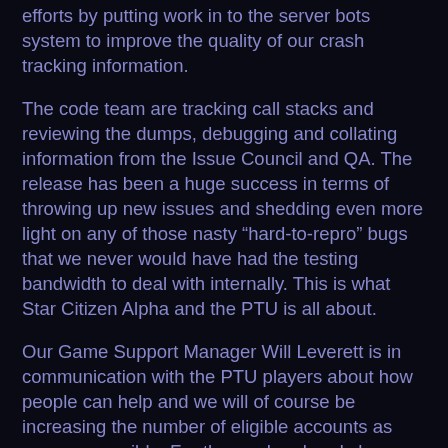efforts by putting work in to the server bots system to improve the quality of our crash tracking information.
The code team are tracking call stacks and reviewing the dumps, debugging and collating information from the Issue Council and QA. The release has been a huge success in terms of throwing up new issues and shedding even more light on any of those nasty “hard-to-repro” bugs that we never would have had the testing bandwidth to deal with internally. This is what Star Citizen Alpha and the PTU is all about.
Our Game Support Manager Will Leverett is in communication with the PTU players about how people can help and we will of course be increasing the number of eligible accounts as soon as possible. For those who already have access, we really appreciate you taking the time to write up solid bug reports.
Since 2.0 was released to PTU, the development team has been sharing videos from the community of all those amazing encounters that are already starting to flourish in this new gameplay environment. We’d like to share one favorite from